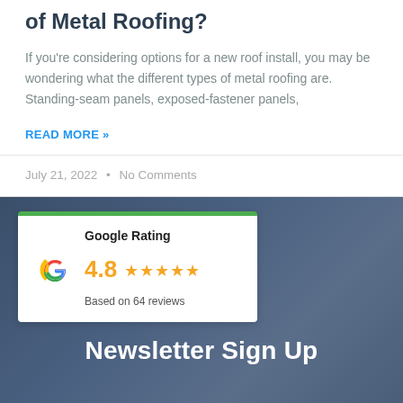What Are the Different Types of Metal Roofing?
If you're considering options for a new roof install, you may be wondering what the different types of metal roofing are. Standing-seam panels, exposed-fastener panels,
READ MORE »
July 21, 2022  •  No Comments
[Figure (logo): Google Rating card with Google G logo, 4.8 star rating, and 'Based on 64 reviews' text, topped with green bar]
Newsletter Sign Up